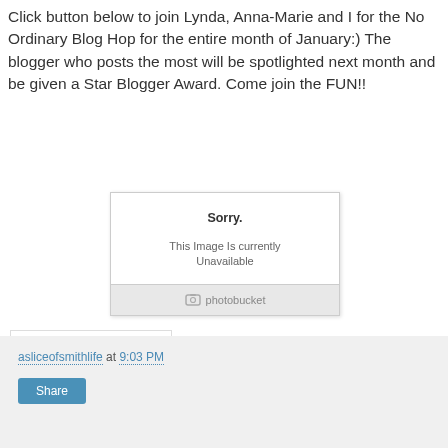Click button below to join Lynda, Anna-Marie and I for the No Ordinary Blog Hop for the entire month of January:) The blogger who posts the most will be spotlighted next month and be given a Star Blogger Award. Come join the FUN!!
[Figure (other): Photobucket image unavailable placeholder with 'Sorry. This image is currently Unavailable' message and Photobucket logo footer]
[Figure (other): Pink signature banner with 'Tracy' written in green cursive script with a small heart]
asliceofsmithlife at 9:03 PM
Share